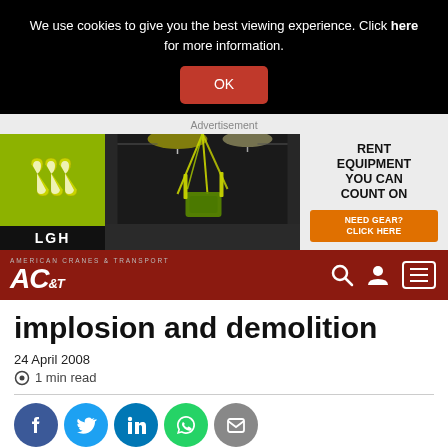We use cookies to give you the best viewing experience. Click here for more information.
OK
[Figure (infographic): LGH equipment rental advertisement: LGH logo on yellow-green background, photo of lifting/rigging equipment, text RENT EQUIPMENT YOU CAN COUNT ON, orange button NEED GEAR? CLICK HERE]
AMERICAN CRANES & TRANSPORT ACT&T
implosion and demolition
24 April 2008
1 min read
[Figure (infographic): Social sharing buttons: Facebook, Twitter, LinkedIn, WhatsApp, Email]